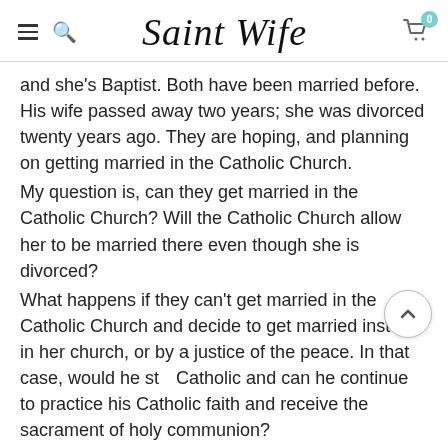Saint Wife
and she's Baptist. Both have been married before. His wife passed away two years; she was divorced twenty years ago. They are hoping, and planning on getting married in the Catholic Church.
My question is, can they get married in the Catholic Church? Will the Catholic Church allow her to be married there even though she is divorced?
What happens if they can't get married in the Catholic Church and decide to get married instead in her church, or by a justice of the peace. In that case, would he still Catholic and can he continue to practice his Catholic faith and receive the sacrament of holy communion?
Thank you, Kayleigh
ANSWER by John-Paul Ignatius, OLSM on July 31, 2001
Dear Miss Joyce: